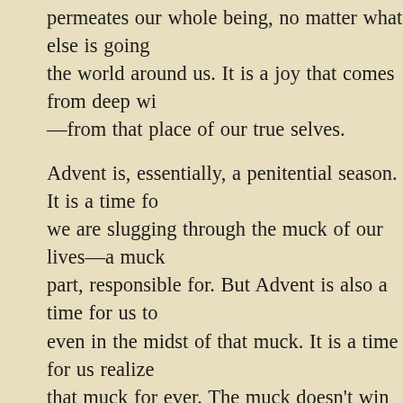permeates our whole being, no matter what else is going on in the world around us.  It is a joy that comes from deep within—from that place of our true selves.
Advent is, essentially, a penitential season.  It is a time for we are slugging through the muck of our lives—a muck part, responsible for.  But Advent is also a time for us to even in the midst of that muck.  It is a time for us realize that muck for ever.  The muck doesn't win out.  The joy us wins out. So, as we gather together this morning, and morning, let us remember the joy we feel at seeing this p
We have made it this far.  The tide has shifted.  The light dawn is about to break upon our long dark night. As we p meditate on this, as we take this with us in our hearts, pa the emotion this causes within us.  Let us embrace that w deep within.  And let it proclaim on our lips the words w